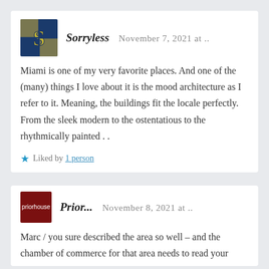[Figure (other): Avatar image for user Sorryless — stylized letter S on blue/gold background]
Sorryless   November 7, 2021 at ..
Miami is one of my very favorite places. And one of the (many) things I love about it is the mood architecture as I refer to it. Meaning, the buildings fit the locale perfectly. From the sleek modern to the ostentatious to the rhythmically painted . .
★ Liked by 1 person
[Figure (logo): Avatar image for user priorhouse — dark red square with white text 'priorhouse']
Prior...   November 8, 2021 at ..
Marc / you sure described the area so well – and the chamber of commerce for that area needs to read your